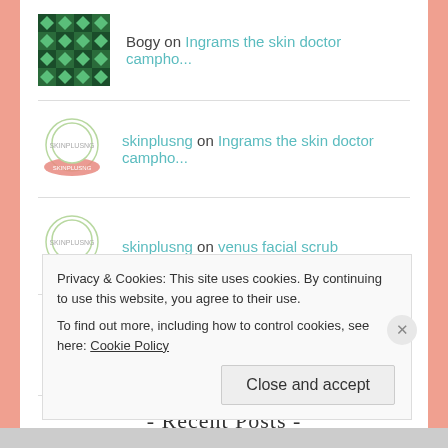Bogy on Ingrams the skin doctor campho...
skinplusng on Ingrams the skin doctor campho...
skinplusng on venus facial scrub
skinplusng on Ingrams the skin doctor campho...
- Recent Posts -
Privacy & Cookies: This site uses cookies. By continuing to use this website, you agree to their use.
To find out more, including how to control cookies, see here: Cookie Policy
Close and accept